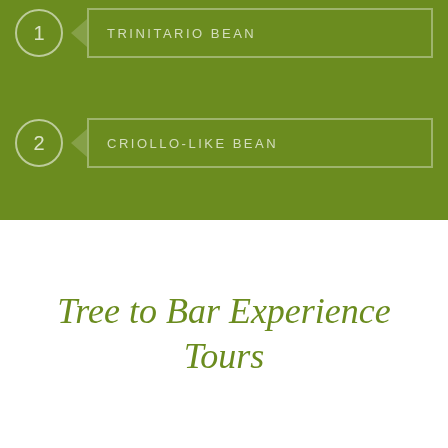1 TRINITARIO BEAN
2 CRIOLLO-LIKE BEAN
Tree to Bar Experience Tours